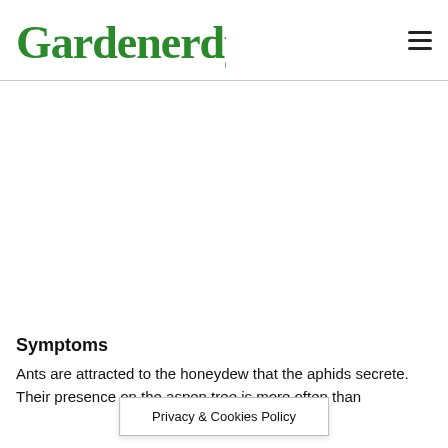Gardenerdy
[Figure (other): Large white/blank advertisement area]
Symptoms
Ants are attracted to the honeydew that the aphids secrete. Their presence on the aspen tree is more often than not an indication of aphids infecting the tree.
Privacy & Cookies Policy